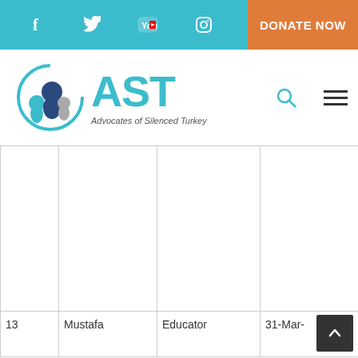AST – Advocates of Silenced Turkey website header with social icons (Facebook, Twitter, YouTube, Instagram), DONATE NOW button, AST logo, search icon, and hamburger menu
| # | Name | Profession | Date | Country |
| --- | --- | --- | --- | --- |
|  |  |  |  |  |
| 13 | Mustafa | Educator | 31-Mar- | Kosovo |